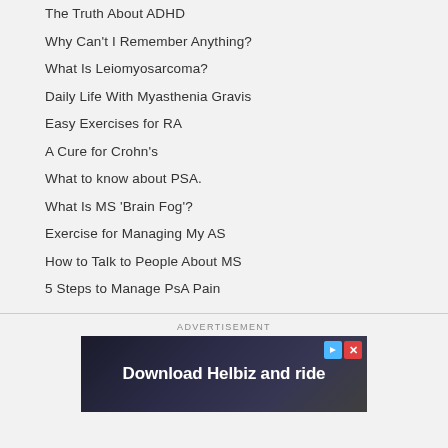The Truth About ADHD
Why Can't I Remember Anything?
What Is Leiomyosarcoma?
Daily Life With Myasthenia Gravis
Easy Exercises for RA
A Cure for Crohn's
What to know about PSA.
What Is MS 'Brain Fog'?
Exercise for Managing My AS
How to Talk to People About MS
5 Steps to Manage PsA Pain
[Figure (screenshot): Advertisement banner for 'Download Helbiz and ride' with play and close icons on dark background]